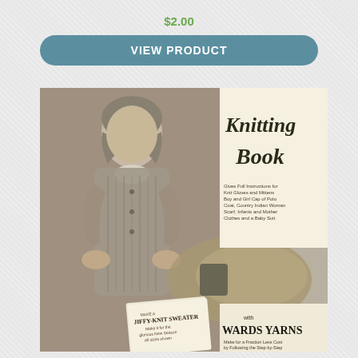$2.00
VIEW PRODUCT
[Figure (photo): Vintage knitting book cover showing a woman wearing a cable-knit sweater, holding a skein of yarn. The cover reads 'Knitting Book' in large decorative font, 'Wards Yarns' at the bottom, and includes a small booklet labeled 'Make a Jiffy-Knit Sweater'.]